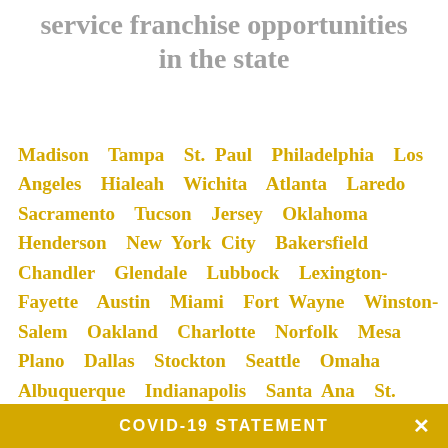service franchise opportunities in the state
Madison Tampa St. Paul Philadelphia Los Angeles Hialeah Wichita Atlanta Laredo Sacramento Tucson Jersey Oklahoma Henderson New York City Bakersfield Chandler Glendale Lubbock Lexington-Fayette Austin Miami Fort Wayne Winston-Salem Oakland Charlotte Norfolk Mesa Plano Dallas Stockton Seattle Omaha Albuquerque Indianapolis Santa Ana St. Petersburg Corpus Christi Cleveland Memphis Greensboro Virginia Beach Riverside Chesapeake Colorado Springs Pittsburgh Tulsa Arlington Orlando Birmingham Long Beach Boston San
COVID-19 STATEMENT